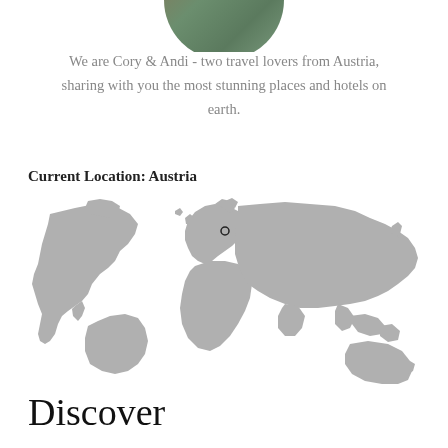[Figure (photo): Circular cropped photo of two people (Cory and Andi), partially visible at top of page]
We are Cory & Andi - two travel lovers from Austria, sharing with you the most stunning places and hotels on earth.
Current Location: Austria
[Figure (map): World map in grey showing continents with a small location marker dot on Austria in Central Europe]
Discover